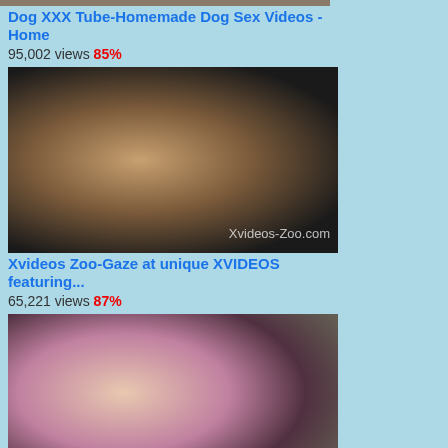[Figure (photo): Thumbnail image cropped at top]
Dog XXX Tube-Homemade Dog Sex Videos - Home
95,002 views 85%
[Figure (photo): Close-up photo with Xvideos-Zoo.com watermark]
Xvideos Zoo-Gaze at unique XVIDEOS featuring...
65,221 views 87%
[Figure (photo): Third thumbnail photo]